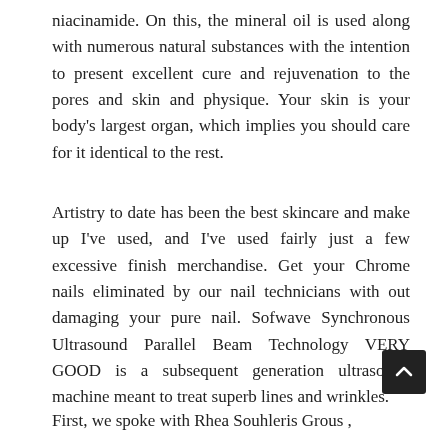niacinamide. On this, the mineral oil is used along with numerous natural substances with the intention to present excellent cure and rejuvenation to the pores and skin and physique. Your skin is your body's largest organ, which implies you should care for it identical to the rest.
Artistry to date has been the best skincare and make up I've used, and I've used fairly just a few excessive finish merchandise. Get your Chrome nails eliminated by our nail technicians with out damaging your pure nail. Sofwave Synchronous Ultrasound Parallel Beam Technology VERY GOOD is a subsequent generation ultrasound machine meant to treat superb lines and wrinkles.
First, we spoke with Rhea Souhleris Grous ,